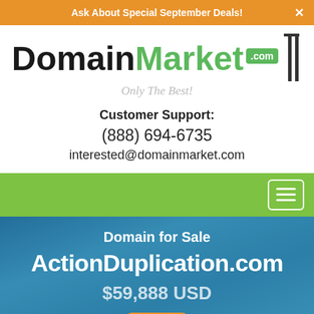Ask About Special September Deals!
[Figure (logo): DomainMarket.com logo with green sign post graphic and tagline 'Only The Best!']
Customer Support:
(888) 694-6735
interested@domainmarket.com
[Figure (screenshot): Green navigation bar with hamburger menu button (white bordered rectangle with three horizontal lines)]
Domain for Sale
ActionDuplication.com
$59,888 USD